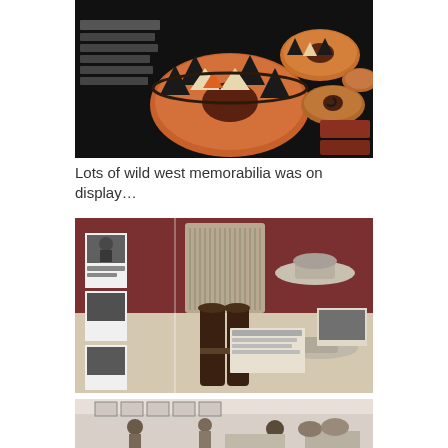[Figure (photo): Museum display of Native American pottery bowls with geometric designs in orange, black, and white, mounted on a dark wall]
Lots of wild west memorabilia was on display…
[Figure (photo): Museum display case with wild west memorabilia including chaps, boots, hats, and photographs on a maroon background wall]
[Figure (photo): Partial view of museum interior with visitors and displays]